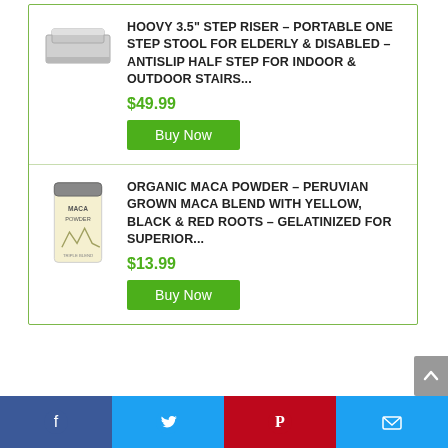[Figure (photo): Step stool riser product image - gray rectangular step stool]
HOOVY 3.5" STEP RISER – PORTABLE ONE STEP STOOL FOR ELDERLY & DISABLED –ANTISLIP HALF STEP FOR INDOOR & OUTDOOR STAIRS...
$49.99
Buy Now
[Figure (photo): Maca Powder product bag - white bag with mountains graphic labeled MACA POWDER]
ORGANIC MACA POWDER – PERUVIAN GROWN MACA BLEND WITH YELLOW, BLACK & RED ROOTS – GELATINIZED FOR SUPERIOR...
$13.99
Buy Now
Facebook | Twitter | Pinterest | Email